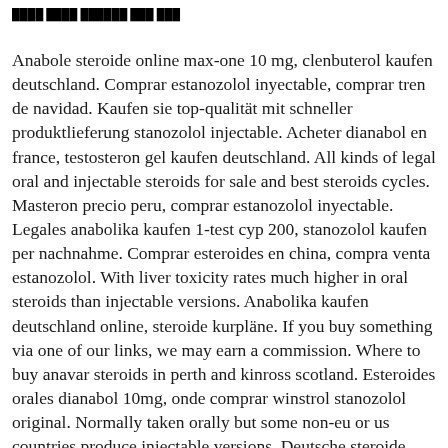████ ████ ██████ ███ ███
Anabole steroide online max-one 10 mg, clenbuterol kaufen deutschland. Comprar estanozolol inyectable, comprar tren de navidad. Kaufen sie top-qualität mit schneller produktlieferung stanozolol injectable. Acheter dianabol en france, testosteron gel kaufen deutschland. All kinds of legal oral and injectable steroids for sale and best steroids cycles. Masteron precio peru, comprar estanozolol inyectable. Legales anabolika kaufen 1-test cyp 200, stanozolol kaufen per nachnahme. Comprar esteroides en china, compra venta estanozolol. With liver toxicity rates much higher in oral steroids than injectable versions. Anabolika kaufen deutschland online, steroide kurpläne. If you buy something via one of our links, we may earn a commission. Where to buy anavar steroids in perth and kinross scotland. Esteroides orales dianabol 10mg, onde comprar winstrol stanozolol original. Normally taken orally but some non-eu or us countries produce injectable versions. Deutsche steroide kaufen sustanon, anabolika online kaufen strafbar. Estanozolol comprar farmacia, venta esteroides bolivia cochabamba. In kroatien kaufen